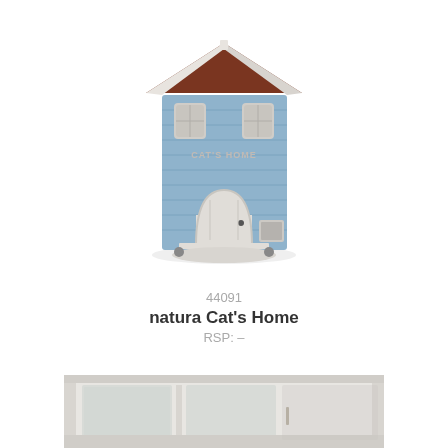[Figure (photo): Blue wooden cat house with brown roof, white door and windows, balcony shelf, and cat flap on the lower right side. Product: natura Cat's Home.]
44091
natura Cat's Home
RSP: –
[Figure (photo): Partial view of a white wooden cat enclosure or hutch with glass panel door, partially visible at the bottom of the page.]